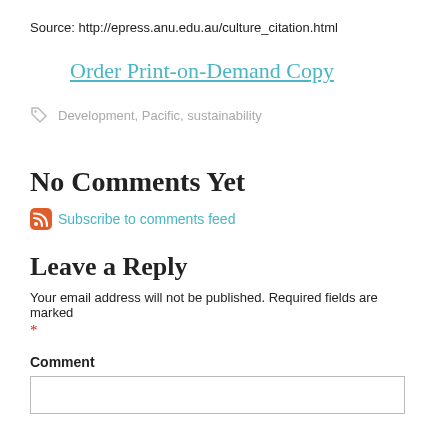Source: http://epress.anu.edu.au/culture_citation.html
Order Print-on-Demand Copy
Development, Pacific, sustainability
No Comments Yet
Subscribe to comments feed
Leave a Reply
Your email address will not be published. Required fields are marked *
Comment